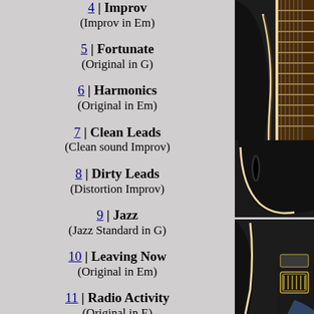4 | Improv (Improv in Em)
5 | Fortunate (Original in G)
6 | Harmonics (Original in Em)
7 | Clean Leads (Clean sound Improv)
8 | Dirty Leads (Distortion Improv)
9 | Jazz (Jazz Standard in G)
10 | Leaving Now (Original in Em)
11 | Radio Activity (Original in E)
12 | Sylvia
[Figure (photo): Close-up of a black archtop electric guitar body and neck with cream/yellow binding, showing the f-holes and fingerboard]
[Figure (photo): Close-up of the tailpiece area of a black archtop electric guitar with gold/cream hardware]